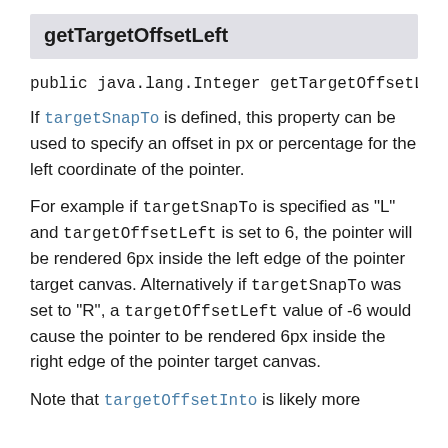getTargetOffsetLeft
public java.lang.Integer getTargetOffsetLeft()
If targetSnapTo is defined, this property can be used to specify an offset in px or percentage for the left coordinate of the pointer.
For example if targetSnapTo is specified as "L" and targetOffsetLeft is set to 6, the pointer will be rendered 6px inside the left edge of the pointer target canvas. Alternatively if targetSnapTo was set to "R", a targetOffsetLeft value of -6 would cause the pointer to be rendered 6px inside the right edge of the pointer target canvas.
Note that targetOffsetInto is likely more ...